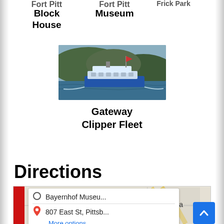Fort Pitt Block House
Fort Pitt Museum
Frick Park
[Figure (photo): A ferry boat (Gateway Clipper Fleet) on a river with hills in background]
Gateway Clipper Fleet
Directions
[Figure (map): Google Maps showing directions from Bayernhof Museum to 807 East St, Pittsburgh. Shows Etna area. Red bar on left, white info box with origin 'Bayernhof Museu...' and destination '807 East St, Pittsb...' with 'More options' link.]